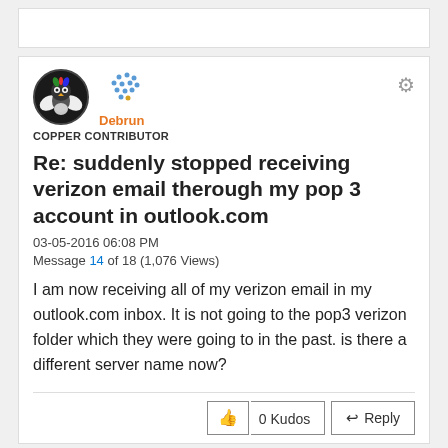[Figure (other): Top decorative bar area (white rectangle)]
[Figure (photo): User avatar: circular avatar with bird/owl illustration on dark background]
[Figure (other): Rank icon: scattered blue dots pattern]
Debrun
COPPER CONTRIBUTOR
Re: suddenly stopped receiving verizon email therough my pop 3 account in outlook.com
03-05-2016 06:08 PM
Message 14 of 18 (1,076 Views)
I am now receiving all of my verizon email in my outlook.com inbox. It is not going to the pop3 verizon folder which they were going to in the past. is there a different server name now?